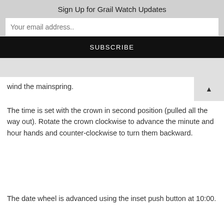Sign Up for Grail Watch Updates
Your email address..
SUBSCRIBE
wind the mainspring.
The time is set with the crown in second position (pulled all the way out). Rotate the crown clockwise to advance the minute and hour hands and counter-clockwise to turn them backward.
The date wheel is advanced using the inset push button at 10:00.
ETA Cal. 7753 Ebauches and Variants
Cal. 7753 is used by other manufacturers, often